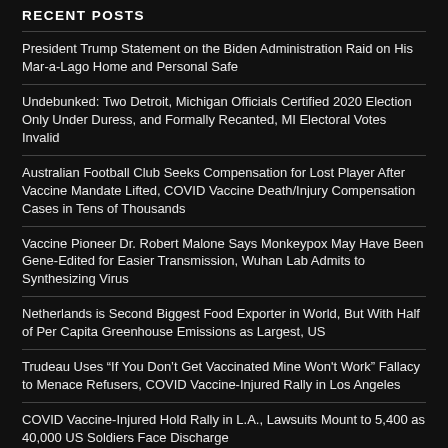RECENT POSTS
President Trump Statement on the Biden Administration Raid on His Mar-a-Lago Home and Personal Safe
Undebunked: Two Detroit, Michigan Officials Certified 2020 Election Only Under Duress, and Formally Recanted, MI Electoral Votes Invalid
Australian Football Club Seeks Compensation for Lost Player After Vaccine Mandate Lifted, COVID Vaccine Death/Injury Compensation Cases in Tens of Thousands
Vaccine Pioneer Dr. Robert Malone Says Monkeypox May Have Been Gene-Edited for Easier Transmission, Wuhan Lab Admits to Synthesizing Virus
Netherlands is Second Biggest Food Exporter in World, But With Half of Per Capita Greenhouse Emissions as Largest, US
Trudeau Uses “If You Don’t Get Vaccinated Mine Won't Work” Fallacy to Menace Refusers, COVID Vaccine-Injured Rally in Los Angeles
COVID Vaccine-Injured Hold Rally in L.A., Lawsuits Mount to 5,400 as 40,000 US Soldiers Face Discharge